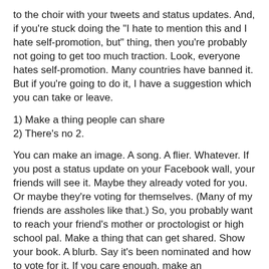to the choir with your tweets and status updates. And, if you're stuck doing the "I hate to mention this and I hate self-promotion, but" thing, then you're probably not going to get too much traction. Look, everyone hates self-promotion. Many countries have banned it. But if you're going to do it, I have a suggestion which you can take or leave.
1) Make a thing people can share
2) There's no 2.
You can make an image. A song. A flier. Whatever. If you post a status update on your Facebook wall, your friends will see it. Maybe they already voted for you. Or maybe they're voting for themselves. (Many of my friends are assholes like that.) So, you probably want to reach your friend's mother or proctologist or high school pal. Make a thing that can get shared. Show your book. A blurb. Say it's been nominated and how to vote for it. If you care enough, make an advertisement for your book and get people to share it.
See, the thing is, you want to reach outside your circle -- and you never know what's going to catch on.